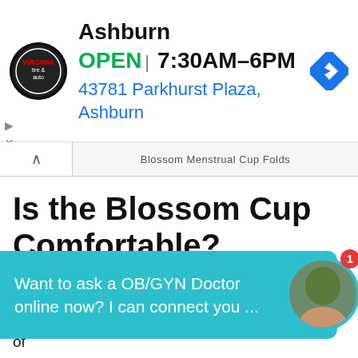[Figure (other): Advertisement banner for Virginia Tire & Auto in Ashburn showing logo, OPEN status, hours 7:30AM-6PM, address 43781 Parkhurst Plaza Ashburn, and navigation icon]
Blossom Menstrual Cup Folds
Is the Blossom Cup Comfortable?
If you've never tried a menstrual cup before, you'll probably want to know if it's comfortable to use one. The Blossom Cup is similar to tampons, in that once it's inside of you, you probably won't be able to feel it
Want to ask a OB/GYN Doctor online now? I can connect you ...
The exception to this is if the stem is sticking out of